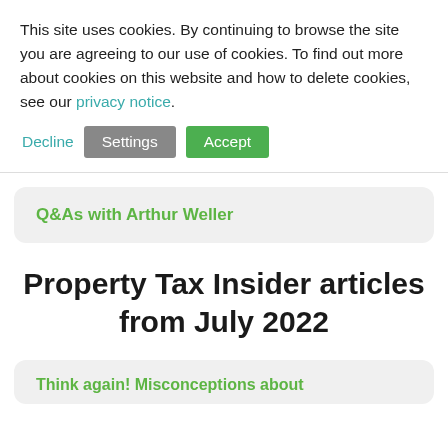This site uses cookies. By continuing to browse the site you are agreeing to our use of cookies. To find out more about cookies on this website and how to delete cookies, see our privacy notice.
Decline | Settings | Accept
Q&As with Arthur Weller
Property Tax Insider articles from July 2022
Think again! Misconceptions about